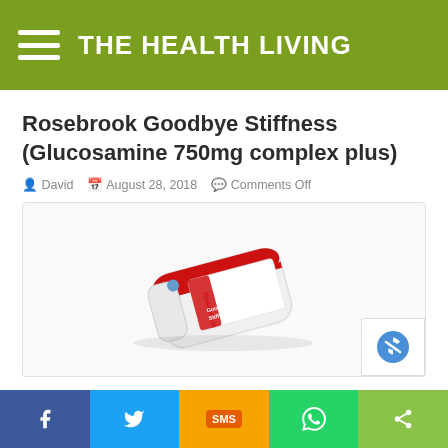THE HEALTH LIVING
Rosebrook Goodbye Stiffness (Glucosamine 750mg complex plus)
David  August 28, 2018  Comments Off
[Figure (photo): Rosebrook Goodbye Stiffness supplement bottle lying on its side, white bottle with red and blue label]
f  [Twitter bird]  SMS  [WhatsApp]  [Share]